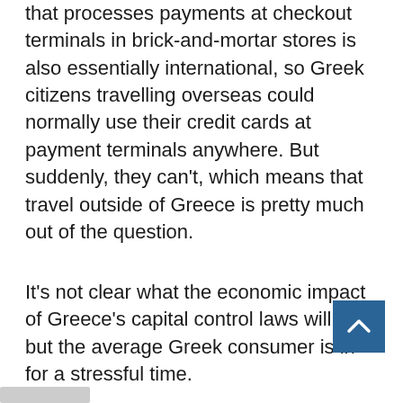that processes payments at checkout terminals in brick-and-mortar stores is also essentially international, so Greek citizens travelling overseas could normally use their credit cards at payment terminals anywhere. But suddenly, they can't, which means that travel outside of Greece is pretty much out of the question.
It's not clear what the economic impact of Greece's capital control laws will be, but the average Greek consumer is in for a stressful time.